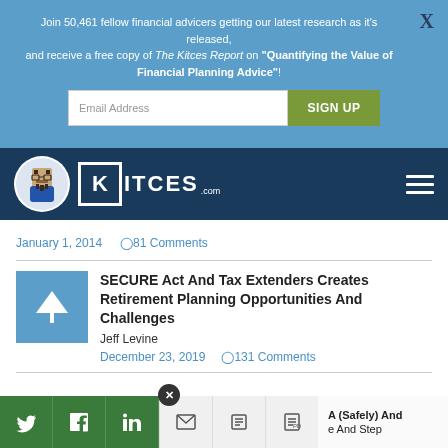Join 50,461 fellow financial advicers getting our latest research as it's released, and receive a free copy of The Kitces Report on "Quantifying the Value of Financial Planning Advice"!
[Figure (screenshot): Email address input field and SIGN UP button on blue background]
[Figure (logo): Kitces.com logo with pixel avatar on dark navy navigation bar]
January 1, 2014   ○81 Comments
[Figure (illustration): Blue square thumbnail with white road/triangle icon]
SECURE Act And Tax Extenders Creates Retirement Planning Opportunities And Challenges
Jeff Levine
December 23, 2019   ○131 Comments
A (Safely) And e And Step
[Figure (screenshot): Social share bar with Twitter, Facebook, LinkedIn, email, print, PDF buttons and partial article teaser]